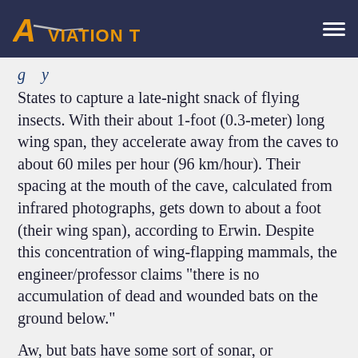Aviation Today
States to capture a late-night snack of flying insects. With their about 1-foot (0.3-meter) long wing span, they accelerate away from the caves to about 60 miles per hour (96 km/hour). Their spacing at the mouth of the cave, calculated from infrared photographs, gets down to about a foot (their wing span), according to Erwin. Despite this concentration of wing-flapping mammals, the engineer/professor claims "there is no accumulation of dead and wounded bats on the ground below."
Aw, but bats have some sort of sonar, or echolocation, for self-separation, right? Not totally, said Erwin. He believes this capability plays only a supplemental role, and the bats' well-developed eyesight is their primary